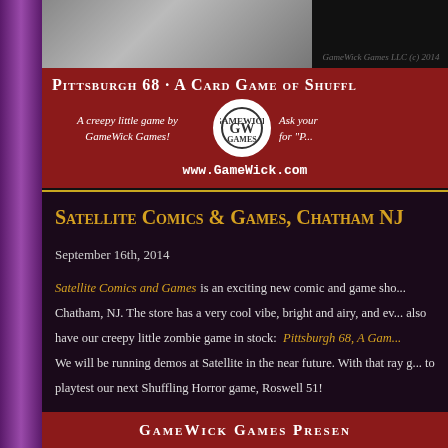[Figure (illustration): GameWick Games LLC banner with illustration and red background. Title: PITTSBURGH 68 - A CARD GAME OF SHUFFLING HORROR. Subtitle: A creepy little game by GameWick Games! Logo circle in center. Ask your store for 'P...'. URL: www.GameWick.com]
Satellite Comics & Games, Chatham NJ
September 16th, 2014
Satellite Comics and Games is an exciting new comic and game shop in Chatham, NJ. The store has a very cool vibe, bright and airy, and ev... also have our creepy little zombie game in stock: Pittsburgh 68, A Gam...
We will be running demos at Satellite in the near future. With that ray g... to playtest our next Shuffling Horror game, Roswell 51!
GameWick Games Presen...